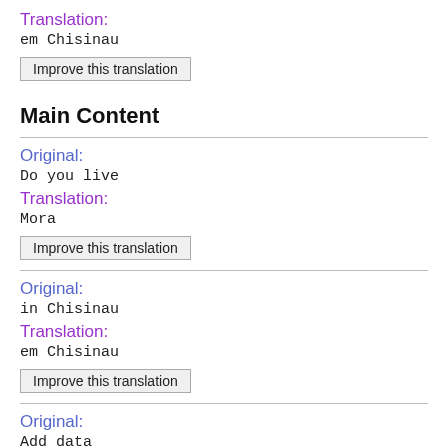Translation:
em Chisinau
Improve this translation
Main Content
Original:
Do you live
Translation:
Mora
Improve this translation
Original:
in Chisinau
Translation:
em Chisinau
Improve this translation
Original:
Add data
Translation: